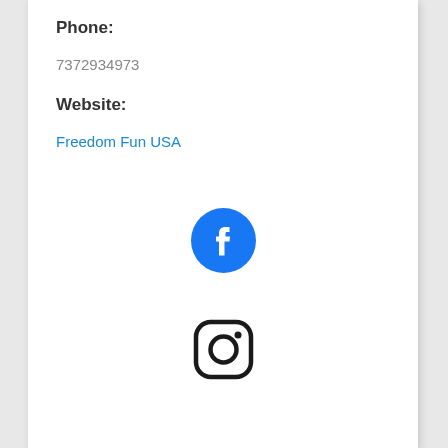Phone:
7372934973
Website:
Freedom Fun USA
[Figure (logo): Facebook circular logo icon — blue circle with white letter F]
[Figure (logo): Instagram logo icon — rounded square outline with circle and dot]